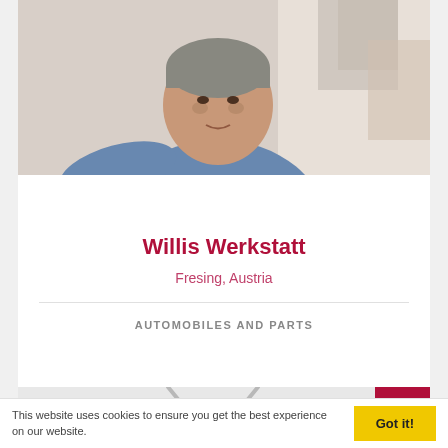[Figure (photo): Photo of a middle-aged man leaning forward, wearing a blue shirt, in a workshop or indoor setting with light walls in background]
Willis Werkstatt
Fresing, Austria
AUTOMOBILES AND PARTS
[Figure (map): Gray map area with a location marker/chevron shape visible at bottom, and a dark red square in top-right corner]
This website uses cookies to ensure you get the best experience on our website.